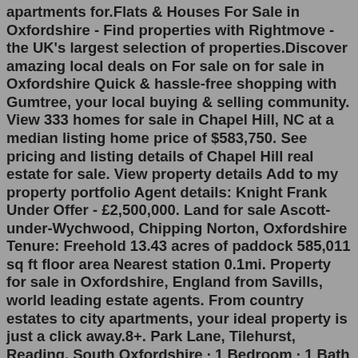apartments for.Flats & Houses For Sale in Oxfordshire - Find properties with Rightmove - the UK's largest selection of properties.Discover amazing local deals on For sale on for sale in Oxfordshire Quick & hassle-free shopping with Gumtree, your local buying & selling community. View 333 homes for sale in Chapel Hill, NC at a median listing home price of $583,750. See pricing and listing details of Chapel Hill real estate for sale. View property details Add to my property portfolio Agent details: Knight Frank Under Offer - £2,500,000. Land for sale Ascott-under-Wychwood, Chipping Norton, Oxfordshire Tenure: Freehold 13.43 acres of paddock 585,011 sq ft floor area Nearest station 0.1mi. Property for sale in Oxfordshire, England from Savills, world leading estate agents. From country estates to city apartments, your ideal property is just a click away.8+. Park Lane, Tilehurst, Reading. South Oxfordshire · 1 Bedroom · 1 Bath · Conservatory · Double Bedroom · Parking · Reception. Vp presented to the market is this one double bedroom retirement